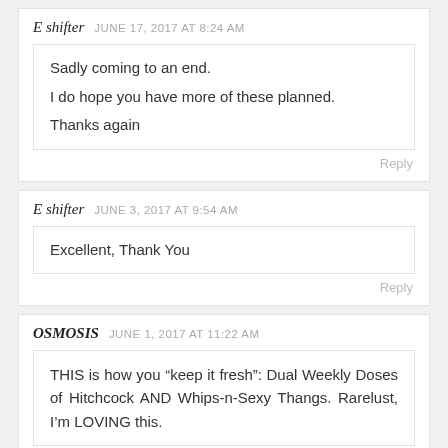E shifter  JUNE 17, 2017 AT 8:24 AM
Sadly coming to an end.
I do hope you have more of these planned.
Thanks again
Reply
E shifter  JUNE 3, 2017 AT 9:54 AM
Excellent, Thank You
Reply
OSMOSIS  JUNE 1, 2017 AT 11:22 AM
THIS is how you “keep it fresh”: Dual Weekly Doses of Hitchcock AND Whips-n-Sexy Thangs. Rarelust, I’m LOVING this.
Reply